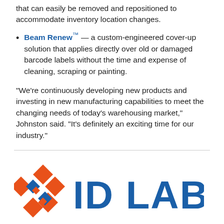that can easily be removed and repositioned to accommodate inventory location changes.
Beam Renew™ — a custom-engineered cover-up solution that applies directly over old or damaged barcode labels without the time and expense of cleaning, scraping or painting.
“We’re continuously developing new products and investing in new manufacturing capabilities to meet the changing needs of today’s warehousing market,” Johnston said. “It’s definitely an exciting time for our industry.”
[Figure (logo): ID Label Inc. logo with orange geometric diamond pattern icon on the left and bold blue 'ID LABEL' text on the right.]